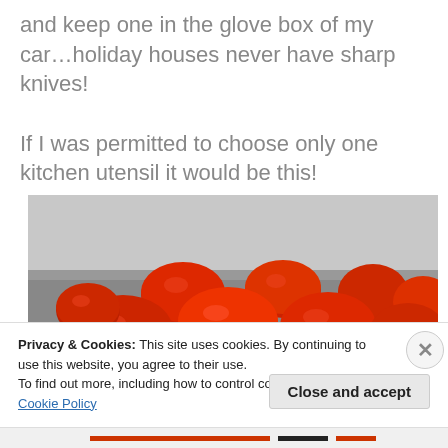and keep one in the glove box of my car…holiday houses never have sharp knives!
If I was permitted to choose only one kitchen utensil it would be this!
[Figure (photo): A pile of red tomatoes (roma/plum tomatoes) on a grey surface/countertop, photographed from slightly above.]
Privacy & Cookies: This site uses cookies. By continuing to use this website, you agree to their use.
To find out more, including how to control cookies, see here: Cookie Policy